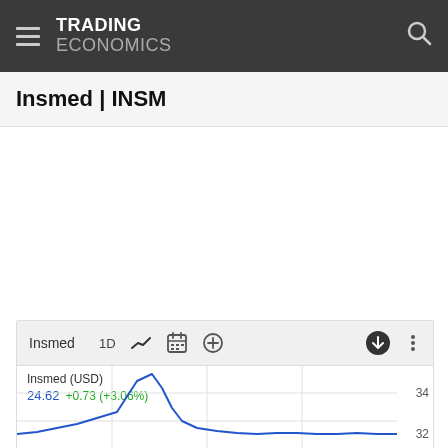TRADING ECONOMICS
Insmed | INSM
[Figure (continuous-plot): Insmed (USD) stock price line chart showing 1D view. Current price 24.62, change +0.73 (+3.06%). Y-axis shows values 34 and 32. Blue line shows a sharp spike upward followed by decline.]